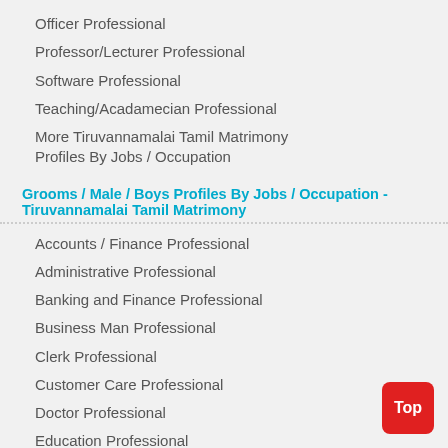Officer Professional
Professor/Lecturer Professional
Software Professional
Teaching/Acadamecian Professional
More Tiruvannamalai Tamil Matrimony Profiles By Jobs / Occupation
Grooms / Male / Boys Profiles By Jobs / Occupation - Tiruvannamalai Tamil Matrimony
Accounts / Finance Professional
Administrative Professional
Banking and Finance Professional
Business Man Professional
Clerk Professional
Customer Care Professional
Doctor Professional
Education Professional
Engineer - Non IT Professional
IT and Engineering Professional
Lawyer and Legal Professional
Manager Professional
Marketing and Sales Professional